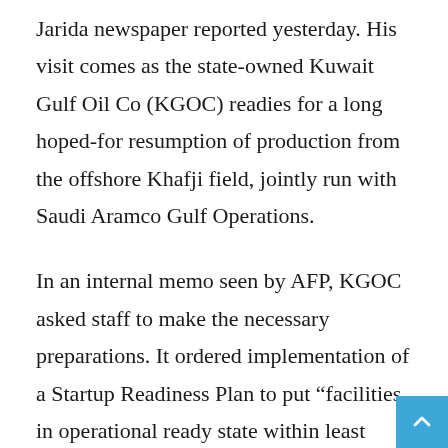Jarida newspaper reported yesterday. His visit comes as the state-owned Kuwait Gulf Oil Co (KGOC) readies for a long hoped-for resumption of production from the offshore Khafji field, jointly run with Saudi Aramco Gulf Operations.
In an internal memo seen by AFP, KGOC asked staff to make the necessary preparations. It ordered implementation of a Startup Readiness Plan to put “facilities in operational ready state within least possible period in order to achieve the resumption of Khafji crude oil production”. Output from the Khafji field was halted in Oct 2014. Saudi Arabia cited environmental concer